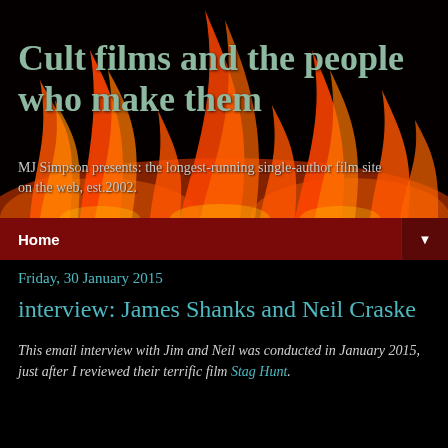[Figure (photo): Flames on a black background used as the website header background image]
Cult films and the people who make them
MJ Simpson presents: the longest-running single-author film site on the web, est.2002.
Home ▼
Friday, 30 January 2015
interview: James Shanks and Neil Craske
This email interview with Jim and Neil was conducted in January 2015, just after I reviewed their terrific film Stag Hunt.